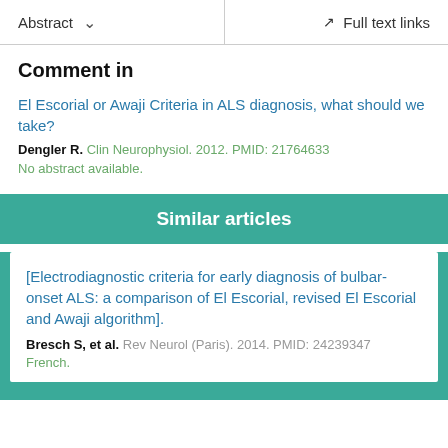Abstract  ∨    Full text links
Comment in
El Escorial or Awaji Criteria in ALS diagnosis, what should we take?
Dengler R. Clin Neurophysiol. 2012. PMID: 21764633
No abstract available.
Similar articles
[Electrodiagnostic criteria for early diagnosis of bulbar-onset ALS: a comparison of El Escorial, revised El Escorial and Awaji algorithm].
Bresch S, et al. Rev Neurol (Paris). 2014. PMID: 24239347
French.